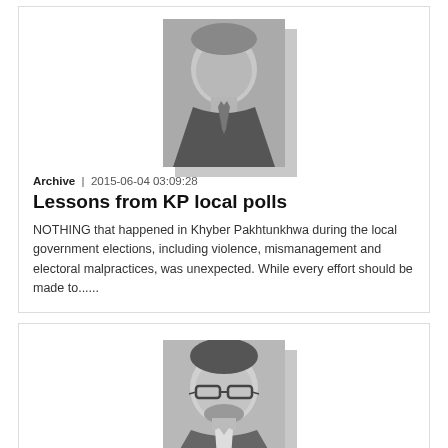[Figure (photo): Black and white portrait photo of an older man in a suit and tie]
Archive | 2015-06-04 03:09:28
Lessons from KP local polls
NOTHING that happened in Khyber Pakhtunkhwa during the local government elections, including violence, mismanagement and electoral malpractices, was unexpected. While every effort should be made to......
[Figure (photo): Black and white portrait photo of a younger man with glasses and a beard]